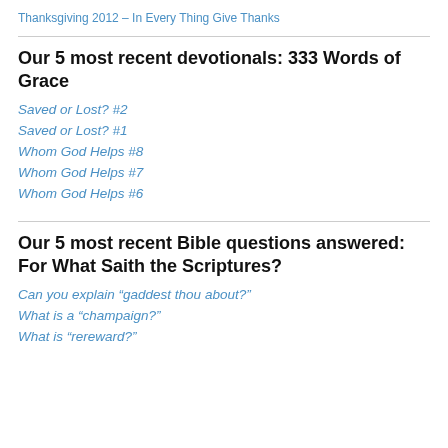Thanksgiving 2012 – In Every Thing Give Thanks
Our 5 most recent devotionals: 333 Words of Grace
Saved or Lost? #2
Saved or Lost? #1
Whom God Helps #8
Whom God Helps #7
Whom God Helps #6
Our 5 most recent Bible questions answered: For What Saith the Scriptures?
Can you explain “gaddest thou about?”
What is a “champaign?”
What is “rereward?”